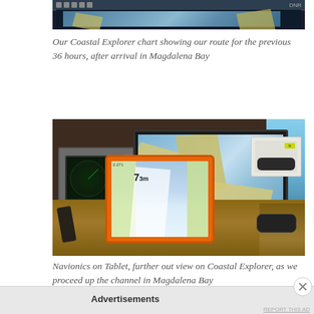[Figure (photo): Top portion of a navigation chart screen showing a route on Coastal Explorer software, dark background with chart display]
Our Coastal Explorer chart showing our route for the previous 36 hours, after arrival in Magdalena Bay
[Figure (photo): Boat navigation station with radar unit on left, Coastal Explorer chart on large monitor in center, orange tablet running Navionics in foreground, binoculars in box on right, wooden teak desk surface, ocean visible through window]
Navionics on Tablet, further out view on Coastal Explorer, as we proceed up the channel in Magdalena Bay
Advertisements